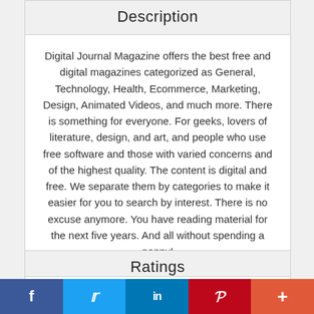Description
Digital Journal Magazine offers the best free and digital magazines categorized as General, Technology, Health, Ecommerce, Marketing, Design, Animated Videos, and much more. There is something for everyone. For geeks, lovers of literature, design, and art, and people who use free software and those with varied concerns and of the highest quality. The content is digital and free. We separate them by categories to make it easier for you to search by interest. There is no excuse anymore. You have reading material for the next five years. And all without spending a penny!
Ratings
f  twitter  in  P  +